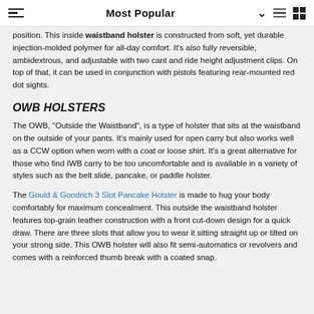Most Popular
position. This inside waistband holster is constructed from soft, yet durable injection-molded polymer for all-day comfort. It's also fully reversible, ambidextrous, and adjustable with two cant and ride height adjustment clips. On top of that, it can be used in conjunction with pistols featuring rear-mounted red dot sights.
OWB HOLSTERS
The OWB, "Outside the Waistband", is a type of holster that sits at the waistband on the outside of your pants. It's mainly used for open carry but also works well as a CCW option when worn with a coat or loose shirt. It's a great alternative for those who find IWB carry to be too uncomfortable and is available in a variety of styles such as the belt slide, pancake, or paddle holster.
The Gould & Goodrich 3 Slot Pancake Holster is made to hug your body comfortably for maximum concealment. This outside the waistband holster features top-grain leather construction with a front cut-down design for a quick draw. There are three slots that allow you to wear it sitting straight up or tilted on your strong side. This OWB holster will also fit semi-automatics or revolvers and comes with a reinforced thumb break with a coated snap.